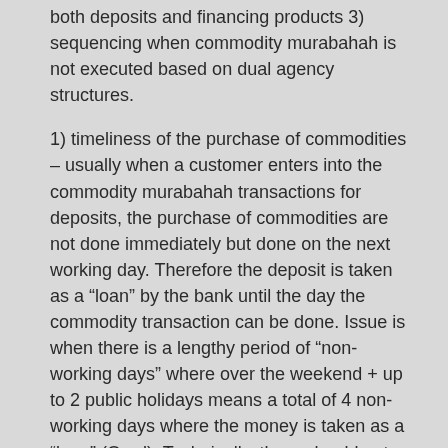both deposits and financing products 3) sequencing when commodity murabahah is not executed based on dual agency structures.
1) timeliness of the purchase of commodities – usually when a customer enters into the commodity murabahah transactions for deposits, the purchase of commodities are not done immediately but done on the next working day. Therefore the deposit is taken as a “loan” by the bank until the day the commodity transaction can be done. Issue is when there is a lengthy period of “non-working days” where over the weekend + up to 2 public holidays means a total of 4 non-working days where the money is taken as a “loan” (Qard). Technically, there should not be a promised returns for loan, but system has already accrued the profit. So it is up to the